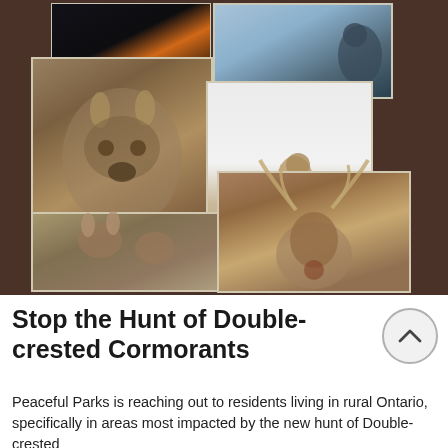[Figure (photo): Collage of wildlife photos on dark brown background: Double-crested Cormorant (top left), Great Blue Heron (top right), Coyote close-up (center left), Coyote in snow (center), two White-tailed Deer does (bottom left), White-tailed Buck with antlers (bottom right)]
Stop the Hunt of Double-crested Cormorants
Peaceful Parks is reaching out to residents living in rural Ontario, specifically in areas most impacted by the new hunt of Double-crested